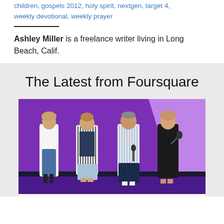children, gospels 2012, holy spirit, nextgen, target 4, weekly devotional, weekly prayer
Ashley Miller is a freelance writer living in Long Beach, Calif.
The Latest from Foursquare
[Figure (photo): Four people standing on a stage with a purple and lavender backdrop. Three women and one man holding microphones.]